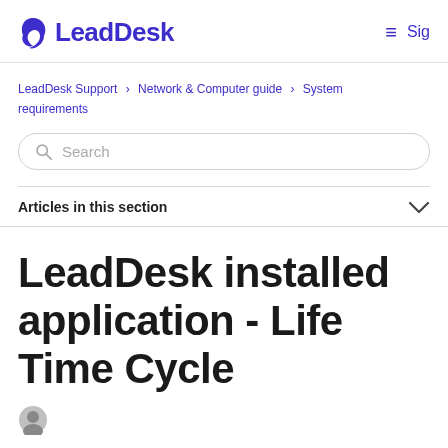LeadDesk
LeadDesk Support > Network & Computer guide > System requirements
Search
Articles in this section
LeadDesk installed application - Life Time Cycle